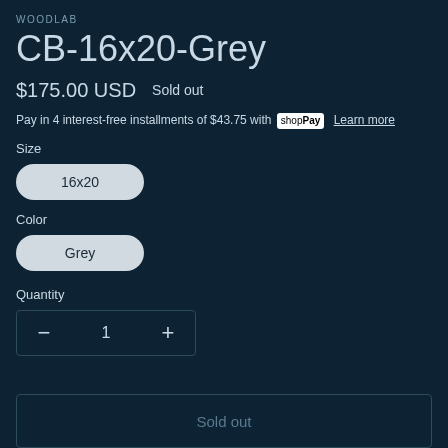WOODLAB
CB-16x20-Grey
$175.00 USD   Sold out
Pay in 4 interest-free installments of $43.75 with Shop Pay  Learn more
Size
16x20
Color
Grey
Quantity
− 1 +
Sold out